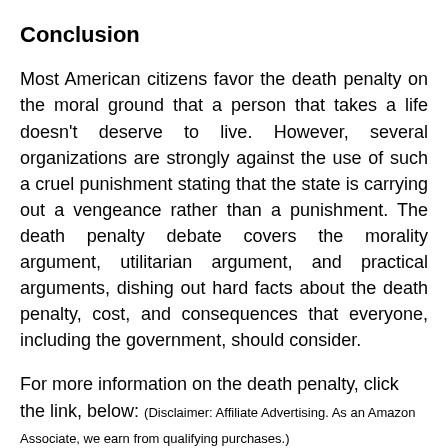Conclusion
Most American citizens favor the death penalty on the moral ground that a person that takes a life doesn't deserve to live. However, several organizations are strongly against the use of such a cruel punishment stating that the state is carrying out a vengeance rather than a punishment. The death penalty debate covers the morality argument, utilitarian argument, and practical arguments, dishing out hard facts about the death penalty, cost, and consequences that everyone, including the government, should consider.
For more information on the death penalty, click the link, below: (Disclaimer: Affiliate Advertising. As an Amazon Associate, we earn from qualifying purchases.)